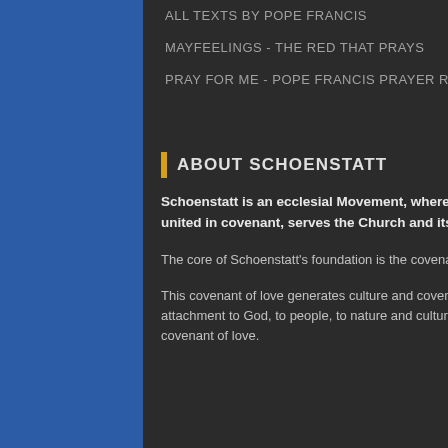ALL TEXTS BY POPE FRANCIS
MAYFEELINGS - THE RED THAT PRAYS
PRAY FOR ME - POPE FRANCIS PRAYER RALLY
ABOUT SCHOENSTATT
Schoenstatt is an ecclesial Movement, where everyone, each according to his individual vocation and united in covenant, serves the Church and its mission and the world God has entrusted to us.
The core of Schoenstatt's foundation is the covenant of love with Mary, the Mother of God.
This covenant of love generates culture and covenant culture is the unique expression of our way of life and work, our attachment to God, to people, to nature and culture, to the Church and the world, which always departs from the covenant of love.